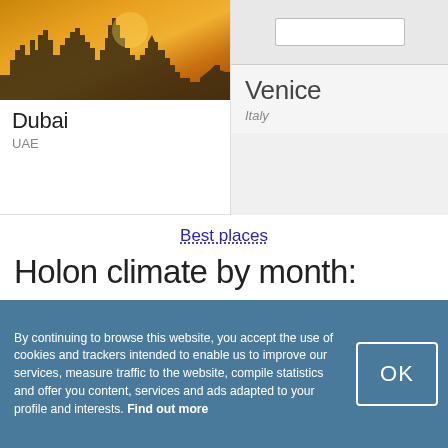[Figure (photo): Dubai city skyline photo with orange/golden sunset sky and skyscraper silhouettes]
Dubai
UAE
[Figure (screenshot): Venice dropdown card showing Venice, Italy in a light grey search result area]
Venice
Italy
Best places
Holon climate by month:
January
February
March
By continuing to browse this website, you accept the use of cookies and trackers intended to enable us to improve our services, measure traffic to the website, compile statistics and offer you content, services and ads adapted to your profile and interests. Find out more